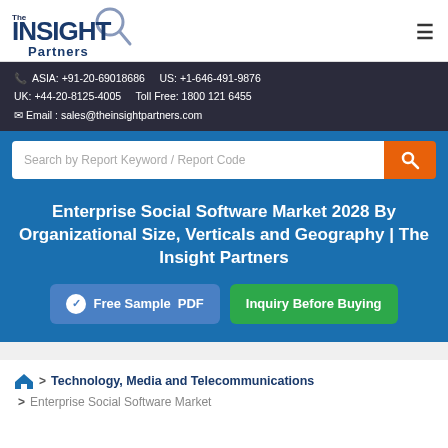[Figure (logo): The Insight Partners logo with magnifying glass icon]
ASIA: +91-20-69018686   US: +1-646-491-9876
UK: +44-20-8125-4005   Toll Free: 1800 121 6455
Email : sales@theinsightpartners.com
Search by Report Keyword / Report Code
Enterprise Social Software Market 2028 By Organizational Size, Verticals and Geography | The Insight Partners
Free Sample PDF
Inquiry Before Buying
Technology, Media and Telecommunications
Enterprise Social Software Market